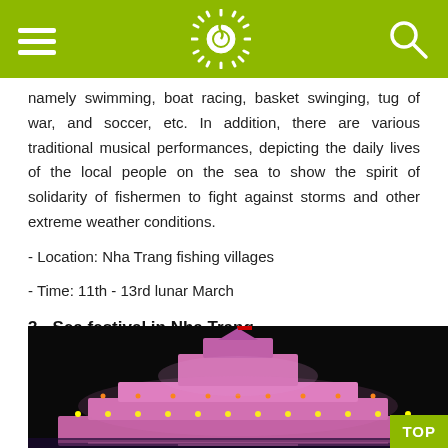[Navigation bar with hamburger menu, sun logo, and search icon]
namely swimming, boat racing, basket swinging, tug of war, and soccer, etc. In addition, there are various traditional musical performances, depicting the daily lives of the local people on the sea to show the spirit of solidarity of fishermen to fight against storms and other extreme weather conditions.
- Location: Nha Trang fishing villages
- Time: 11th - 13rd lunar March
3 -  Sea festival in Nha Trang
[Figure (photo): Night illuminated ornate building/temple structure with pink/purple lights on a dark background, with a flag on top]